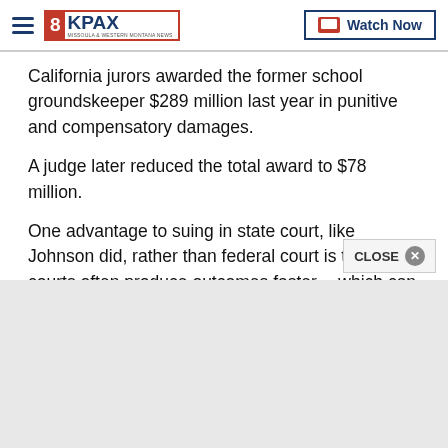8KPAX | Watch Now
California jurors awarded the former school groundskeeper $289 million last year in punitive and compensatory damages.
A judge later reduced the total award to $78 million.
One advantage to suing in state court, like Johnson did, rather than federal court is that state courts often produce outcomes faster -- which can be critical for terminally ill patients.
But Hardeman's case was in federal multidistrict